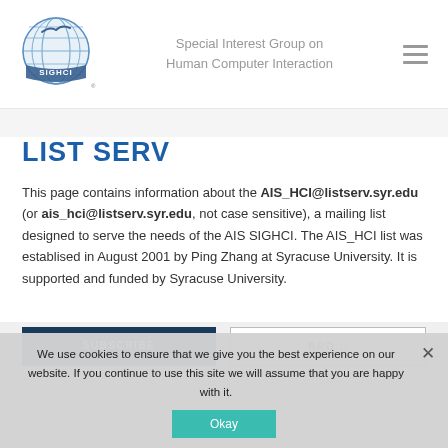[Figure (logo): SIGHCI globe logo with blue and white design and ribbon banner reading SIGHCI]
Special Interest Group on Human Computer Interaction
LIST SERV
This page contains information about the AIS_HCI@listserv.syr.edu (or ais_hci@listserv.syr.edu, not case sensitive), a mailing list designed to serve the needs of the AIS SIGHCI. The AIS_HCI list was establised in August 2001 by Ping Zhang at Syracuse University. It is supported and funded by Syracuse University.
We use cookies to ensure that we give you the best experience on our website. If you continue to use this site we will assume that you are happy with it.